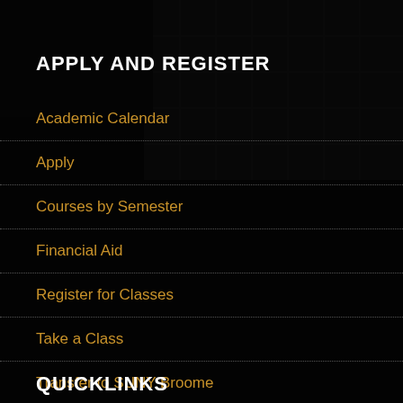[Figure (photo): Dark background photo of a university building (SUNY Broome) with glass facade, heavily darkened with black overlay]
APPLY AND REGISTER
Academic Calendar
Apply
Courses by Semester
Financial Aid
Register for Classes
Take a Class
Transfer to SUNY Broome
Tuition and Fees
QUICKLINKS